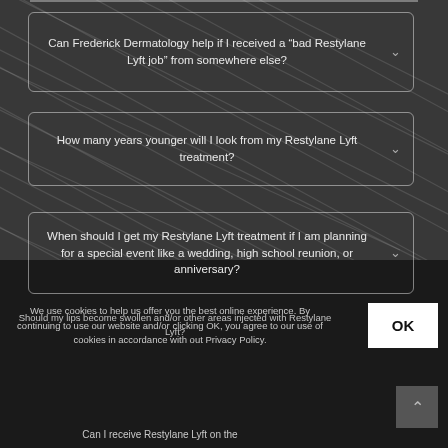Can Frederick Dermatology help if I received a “bad Restylane Lyft job” from somewhere else?
How many years younger will I look from my Restylane Lyft treatment?
When should I get my Restylane Lyft treatment if I am planning for a special event like a wedding, high school reunion, or anniversary?
We use cookies to help us offer you the best online experience. By continuing to use our website and/or clicking OK, you agree to our use of cookies in accordance with out Privacy Policy.
Should my lips become swollen and/or other areas injected with Restylane Lyft?
Can I receive Restylane Lyft on the